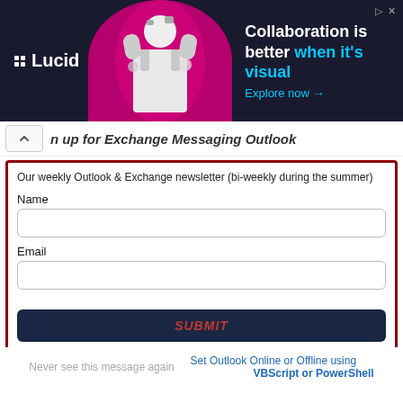[Figure (screenshot): Lucid advertisement banner with dark navy background, magenta circular graphic with woman figure, and text 'Collaboration is better when it's visual' with 'Explore now →' link]
n up for Exchange Messaging Outlook
Our weekly Outlook & Exchange newsletter (bi-weekly during the summer)
Name
Email
SUBMIT
Please note: If you subscribed to Exchange Messaging Outlook before August 2019, please re-subscribe.
Never see this message again
Set Outlook Online or Offline using VBScript or PowerShell